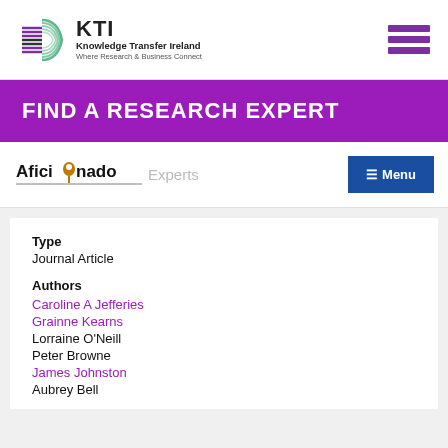[Figure (logo): Knowledge Transfer Ireland (KTI) logo with striped circular emblem and text 'KTI Knowledge Transfer Ireland Where Research & Business Connect']
FIND A RESEARCH EXPERT
[Figure (logo): Aficionado navigation logo with location pin icon]
Experts
≡ Menu
Type
Journal Article
Authors
Caroline A Jefferies
Grainne Kearns
Lorraine O'Neill
Peter Browne
James Johnston
Aubrey Bell